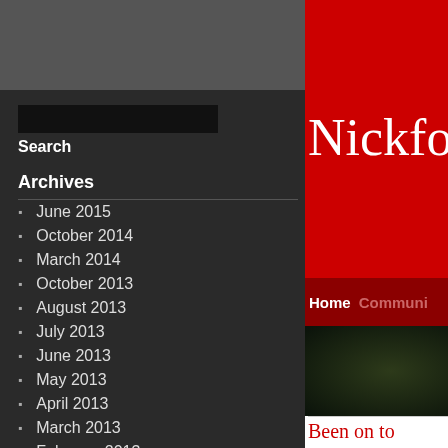Search
Archives
June 2015
October 2014
March 2014
October 2013
August 2013
July 2013
June 2013
May 2013
April 2013
March 2013
February 2013
January 2013
December 2012
November 2012
Nickfo
Home    Communi
[Figure (photo): Dark nature/garden photo, partially visible]
Been on to
Setting hem
That charnels it, of